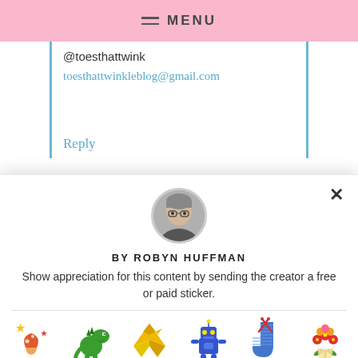MENU
@toesthattwink
toesthattwinkleblog@gmail.com
Reply
[Figure (photo): Circular profile photo of Robyn Huffman wearing glasses]
BY ROBYN HUFFMAN
Show appreciation for this content by sending the creator a free or paid sticker.
[Figure (illustration): Six sticker options: Free (star/fireworks/mushroom sticker), $1.00 (dinosaur), $2.00 (origami crane), $4.00 (robot), $8.00 (knitting sock), $12.00 (flower bouquet)]